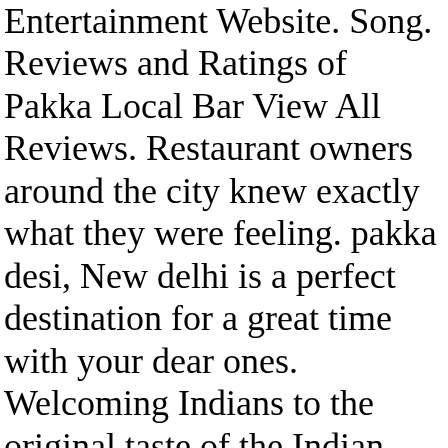Entertainment Website. Song. Reviews and Ratings of Pakka Local Bar View All Reviews. Restaurant owners around the city knew exactly what they were feeling. pakka desi, New delhi is a perfect destination for a great time with your dear ones. Welcoming Indians to the original taste of the Indian kitchen, Godavari Charlotte will also be the biggest desi restaurant able to accommodate around 200 people along with a spacious Patio seating and a nice view. Nee Yadalo. Shravan encourages local bands and lets them perform at his restaurant. Again, I felt uncomfortable.They